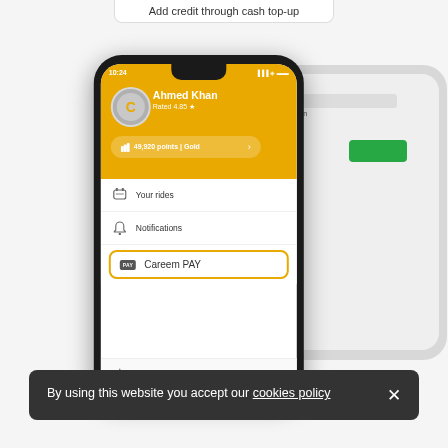Add credit through cash top-up
[Figure (screenshot): Mobile phone screenshot showing Careem app user profile for Ahmed Khan, rated 4.85, with 49,920 points Gold status, menu items including Your rides, Notifications, Careem PAY, and Settings]
By using this website you accept our cookies policy
Settings